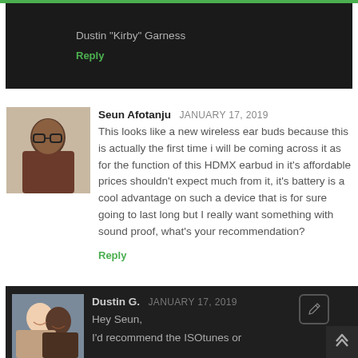Dustin "Kirby" Garness
Reply
[Figure (photo): Avatar photo of Seun Afotanju - young man with glasses]
Seun Afotanju JANUARY 17, 2019
This looks like a new wireless ear buds because this is actually the first time i will be coming across it as for the function of this HDMX earbud in it's affordable prices shouldn't expect much from it, it's battery is a cool advantage on such a device that is for sure going to last long but I really want something with sound proof, what's your recommendation?
Reply
[Figure (photo): Avatar photo of Dustin G. - two people smiling]
Dustin G. JANUARY 17, 2019
Hey Seun,
I'd recommend the ISOtunes or